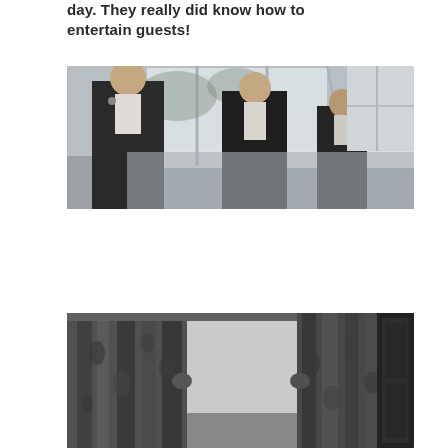day. They really did know how to entertain guests!
[Figure (photo): Black and white photograph of three men in formal wedding attire (suits with boutonnieres and ties) standing in a conservatory or glass-windowed venue.]
[Figure (photo): Black and white photograph of decorative curtains/drapes with a floral or paisley pattern, with a dark door frame visible on the right.]